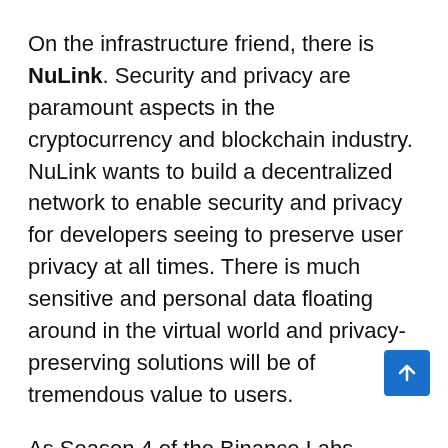On the infrastructure friend, there is NuLink. Security and privacy are paramount aspects in the cryptocurrency and blockchain industry. NuLink wants to build a decentralized network to enable security and privacy for developers seeing to preserve user privacy at all times. There is much sensitive and personal data floating around in the virtual world and privacy-preserving solutions will be of tremendous value to users.
As Season 4 of the Binance Labs Incubation Program kicks off, the team looks to Season 5. Applications for the next Season will be launched in the coming months, as the next round will kick off in Q4 2022.
Disclaimer: This article is provided for informational